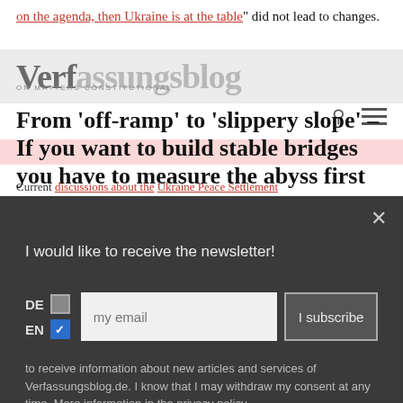"on the agenda, then Ukraine is at the table" did not lead to changes.
Verfassungsblog ON MATTERS CONSTITUTIONAL
From 'off-ramp' to 'slippery slope' – If you want to build stable bridges you have to measure the abyss first
Current discussions about the Ukraine Peace Settlement
I would like to receive the newsletter!
DE  EN  my email  I subscribe
to receive information about new articles and services of Verfassungsblog.de. I know that I may withdraw my consent at any time. More information in the privacy policy.